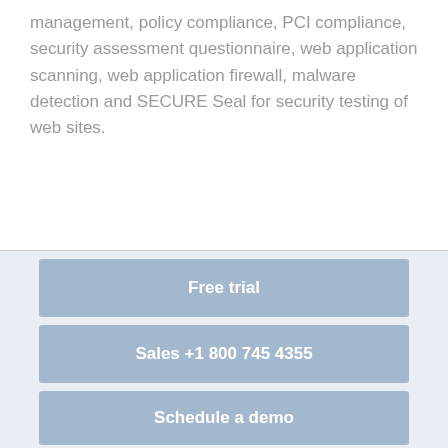management, policy compliance, PCI compliance, security assessment questionnaire, web application scanning, web application firewall, malware detection and SECURE Seal for security testing of web sites.
[Figure (infographic): Three blue button-style banners stacked vertically: 'Free trial', 'Sales +1 800 745 4355', 'Schedule a demo']